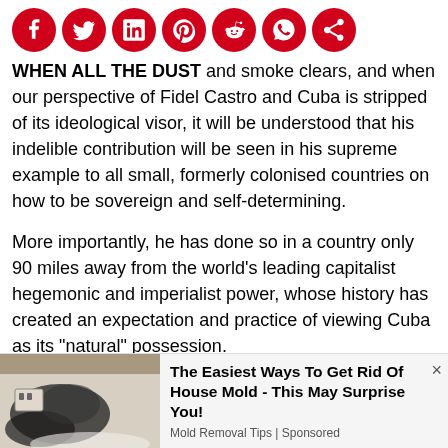[Figure (other): Row of social media share icons (Facebook, Twitter, LinkedIn, Pinterest, Reddit, WhatsApp, Share) in red circles]
WHEN ALL THE DUST and smoke clears, and when our perspective of Fidel Castro and Cuba is stripped of its ideological visor, it will be understood that his indelible contribution will be seen in his supreme example to all small, formerly colonised countries on how to be sovereign and self-determining.
More importantly, he has done so in a country only 90 miles away from the world’s leading capitalist hegemonic and imperialist power, whose history has created an expectation and practice of viewing Cuba as its “natural” possession.
Thus, from John Quincy Adams’ “ripe fruit policy”, through to the Monroe Doctrine and Teddy Roosevelt’s “big stick policy” to the present odious and obnoxious
[Figure (photo): Advertisement image showing mold on a wall near an electrical outlet, with text: The Easiest Ways To Get Rid Of House Mold - This May Surprise You! Mold Removal Tips | Sponsored]